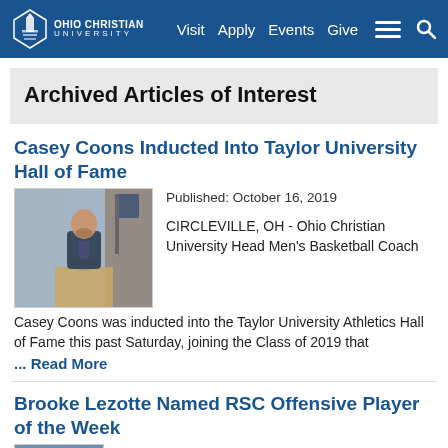Ohio Christian University — Visit Apply Events Give
Archived Articles of Interest
Casey Coons Inducted Into Taylor University Hall of Fame
[Figure (photo): Man in suit speaking at a podium]
Published: October 16, 2019
CIRCLEVILLE, OH - Ohio Christian University Head Men's Basketball Coach Casey Coons was inducted into the Taylor University Athletics Hall of Fame this past Saturday, joining the Class of 2019 that
... Read More
Brooke Lezotte Named RSC Offensive Player of the Week
[Figure (photo): Headshot of a person]
Published: October 16, 2019